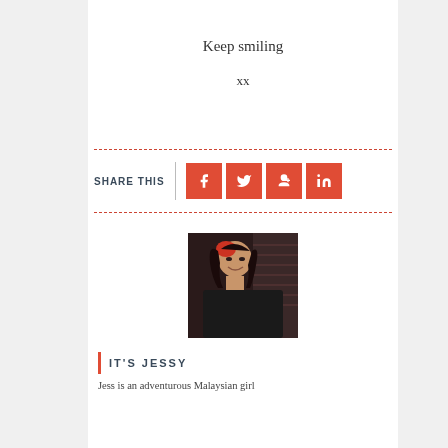Keep smiling
xx
SHARE THIS
[Figure (illustration): Social share buttons: Facebook, Twitter, Google+, LinkedIn icons in red/orange squares]
[Figure (photo): Portrait photo of a young Asian woman with long dark hair and red highlights, smiling, wearing dark clothing, seated indoors with blinds in background]
IT'S JESSY
Jess is an adventurous Malaysian girl